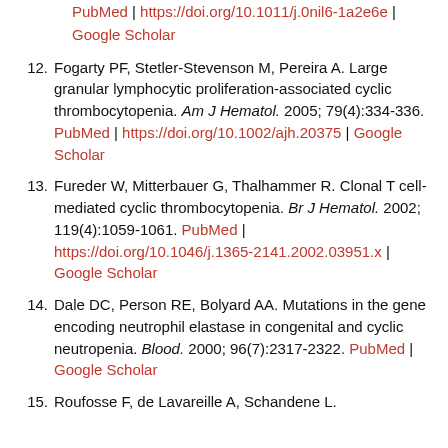[continuation] PubMed | https://doi.org/10.1011/j.0nil6-1a2e6e | Google Scholar
12. Fogarty PF, Stetler-Stevenson M, Pereira A. Large granular lymphocytic proliferation-associated cyclic thrombocytopenia. Am J Hematol. 2005; 79(4):334-336. PubMed | https://doi.org/10.1002/ajh.20375 | Google Scholar
13. Fureder W, Mitterbauer G, Thalhammer R. Clonal T cell-mediated cyclic thrombocytopenia. Br J Hematol. 2002; 119(4):1059-1061. PubMed | https://doi.org/10.1046/j.1365-2141.2002.03951.x | Google Scholar
14. Dale DC, Person RE, Bolyard AA. Mutations in the gene encoding neutrophil elastase in congenital and cyclic neutropenia. Blood. 2000; 96(7):2317-2322. PubMed | Google Scholar
15. Roufosse F, de Lavareille A, Schandene L.